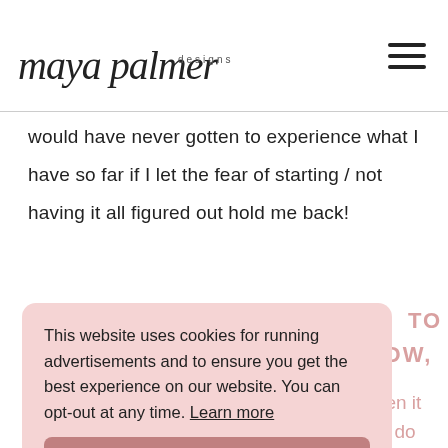maya palmer designs
would have never gotten to experience what I have so far if I let the fear of starting / not having it all figured out hold me back!
#2: TAKING A LEAP OF FAITH TO INVITE GUESTS ON THE SHOW, KNOWING THAT THE WORST THEY CAN SAY IS NO.
This website uses cookies for running advertisements and to ensure you get the best experience on our website. You can opt-out at any time. Learn more
Don't be afraid to put yourself out there when it comes to pitching the show to guests. But I do